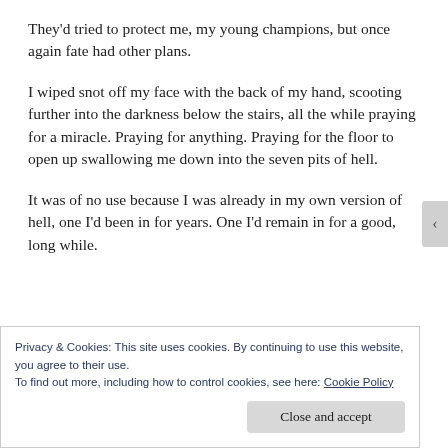They'd tried to protect me, my young champions, but once again fate had other plans.
I wiped snot off my face with the back of my hand, scooting further into the darkness below the stairs, all the while praying for a miracle. Praying for anything. Praying for the floor to open up swallowing me down into the seven pits of hell.
It was of no use because I was already in my own version of hell, one I'd been in for years. One I'd remain in for a good, long while.
Privacy & Cookies: This site uses cookies. By continuing to use this website, you agree to their use.
To find out more, including how to control cookies, see here: Cookie Policy
Close and accept